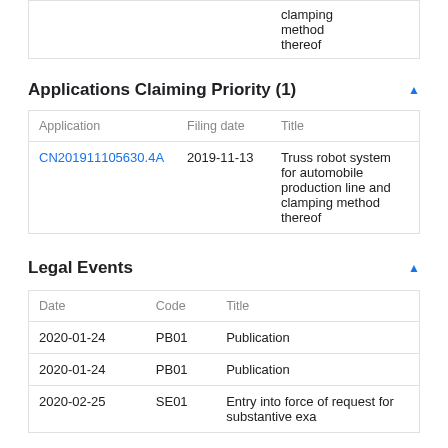|  |  |  |
| --- | --- | --- |
|  |  | clamping method thereof |
Applications Claiming Priority (1)
| Application | Filing date | Title |
| --- | --- | --- |
| CN201911105630.4A | 2019-11-13 | Truss robot system for automobile production line and clamping method thereof |
Legal Events
| Date | Code | Title |
| --- | --- | --- |
| 2020-01-24 | PB01 | Publication |
| 2020-01-24 | PB01 | Publication |
| 2020-02-25 | SE01 | Entry into force of request for substantive exa |